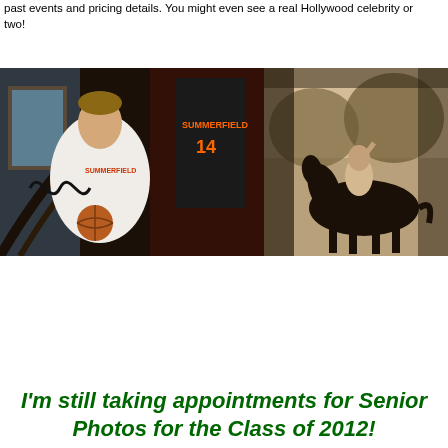past events and pricing details. You might even see a real Hollywood celebrity or two!
[Figure (photo): A young man in a white Summerfield basketball jersey holding a basketball, posed on stairs with a black #14 Summerfield jersey hanging in the background.]
[Figure (photo): A sepia-toned photo of a person riding a dark horse in an outdoor setting with trees in the background.]
I'm still taking appointments for Senior Photos for the Class of 2012!